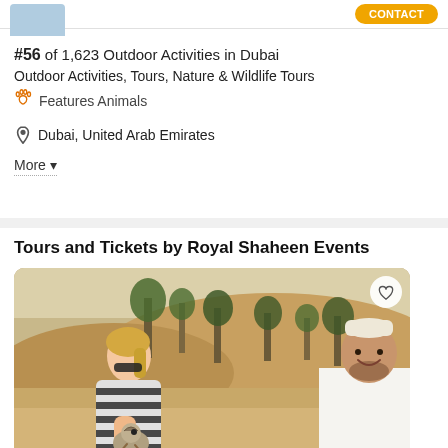#56 of 1,623 Outdoor Activities in Dubai
Outdoor Activities, Tours, Nature & Wildlife Tours
🐾 Features Animals
📍 Dubai, United Arab Emirates
More ▼
Tours and Tickets by Royal Shaheen Events
[Figure (photo): A blonde woman in a striped top holds a falcon on her gloved hand while a smiling man in traditional Emirati white attire (kandura) stands beside her in a desert landscape with sand dunes and trees in the background.]